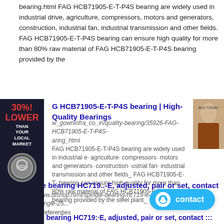bearing.html FAG HCB71905-E-T-P4S bearing are widely used in industrial drive, agriculture, compressors, motors and generators, construction, industrial fan, industrial transmission and other fields. FAG HCB71905-E-T-P4S bearing can ensure high quality for more than 80% raw material of FAG HCB71905-E-T-P4S bearing provided by the
G HCB71905-E-T-P4S bearing | High-Quality Bearings
w_gowninfra_co_in/quality-bearing/35926-FAG-HCB71905-E-T-P4S-aring_html FAG HCB71905-E-T-P4S bearing are widely used in industrial e· agriculture· compressors· motors and generators· construction· ustrial fan· industrial transmission and other fields_ FAG HCB71905-E-T- bearing can ensure high quality for more than 80% raw material of FAG HCB71905-E-T-P4S bearing provided by the steel plant_
Spindle bearing HC719..-E, adjusted, pair or set, contact ...
https://www.btshop.nl/nl/spindle-bearing-hc719-e-adjusted-pair-or-set-contact-angle-25... 325 000 referenties
Spindle bearing HC719:·E, adjusted, pair or set, contact :::
https://www.btshop.nl/nl/spindle-bearing-hc719-e-adjusted-pair-or-set-contact-an 325 000 referenties ::: Bel ons
FAG Hc7005 - C - T - P4s Hybride Ceramische
dutch.tanered-rollerbearing.com/sale-6421161-fag-hc7005-c-t-p4s-hybrid-